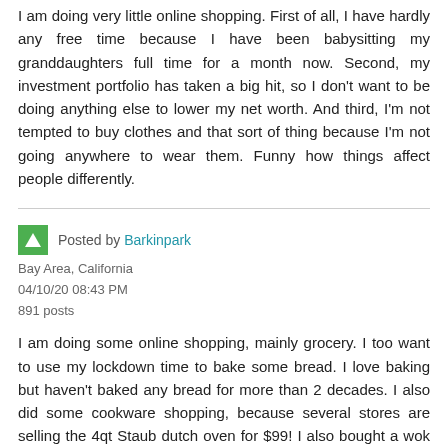I am doing very little online shopping. First of all, I have hardly any free time because I have been babysitting my granddaughters full time for a month now. Second, my investment portfolio has taken a big hit, so I don't want to be doing anything else to lower my net worth. And third, I'm not tempted to buy clothes and that sort of thing because I'm not going anywhere to wear them. Funny how things affect people differently.
Posted by Barkinpark
Bay Area, California
04/10/20 08:43 PM
891 posts
I am doing some online shopping, mainly grocery. I too want to use my lockdown time to bake some bread. I love baking but haven't baked any bread for more than 2 decades. I also did some cookware shopping, because several stores are selling the 4qt Staub dutch oven for $99! I also bought a wok to try stir-